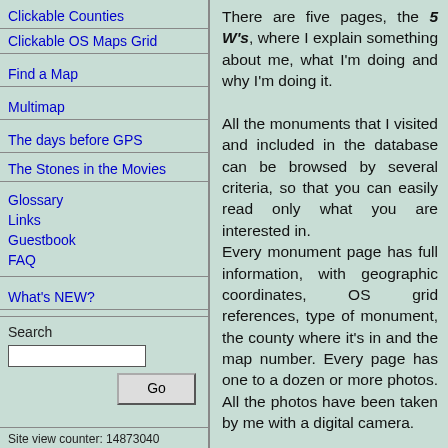Clickable Counties
Clickable OS Maps Grid
Find a Map
Multimap
The days before GPS
The Stones in the Movies
Glossary
Links
Guestbook
FAQ
What's NEW?
Search
Site view counter: 14873040
There are five pages, the 5 W's, where I explain something about me, what I'm doing and why I'm doing it.

All the monuments that I visited and included in the database can be browsed by several criteria, so that you can easily read only what you are interested in.
Every monument page has full information, with geographic coordinates, OS grid references, type of monument, the county where it's in and the map number. Every page has one to a dozen or more photos. All the photos have been taken by me with a digital camera.